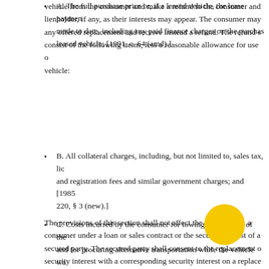vehicle from the consumer and make a refund to the consumer and lienholder, if any, as their interests may appear. The consumer may any offered replacement and receive instead a refund. The refund s consist of the following items, less a reasonable allowance for use vehicle:
A. The full purchase price or, if a leased vehicle, the lease payment made to date, including any paid finance charges on the purchase leased vehicle; [1991, c. 64 (amd).]
B. All collateral charges, including, but not limited to, sales tax, lic and registration fees and similar government charges; and [1985 220, § 3 (new).]
C. Costs incurred by the consumer for towing and storage of the and for procuring alternative transportation while the vehicle wa service by reason of repair. [1985, c. 220, § 3 (new).]
The provisions of this section shall not affect the obligation a consumer under a loan or sales contract or the secured interest of a secured party. The secured party shall consent to the replacement c security interest with a corresponding security interest on a replace